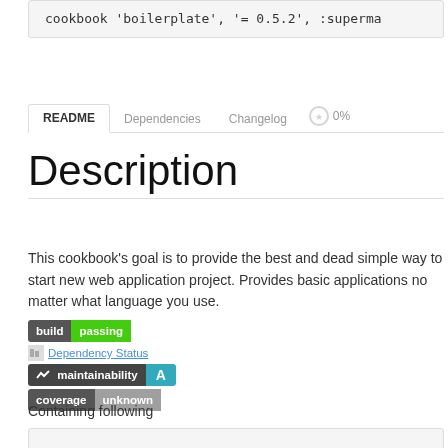cookbook 'boilerplate', '= 0.5.2', :superma
README | Dependencies | Changelog | Quality 0%
Description
This cookbook's goal is to provide the best and dead simple way to start new web application project. Provides basic applications no matter what language you use.
[Figure (infographic): Build passing badge, Dependency Status link, maintainability A badge, coverage unknown badge]
Containing following